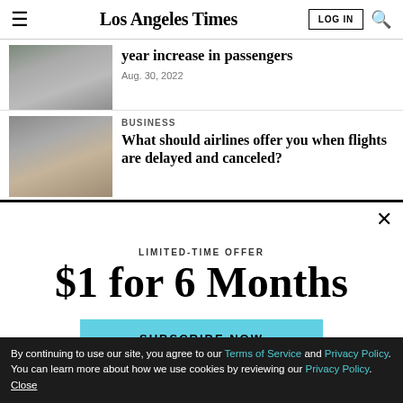Los Angeles Times
[Figure (photo): Partially visible photo of travelers at an airport]
year increase in passengers
Aug. 30, 2022
BUSINESS
[Figure (photo): People with luggage in an airport terminal, some wearing masks]
What should airlines offer you when flights are delayed and canceled?
LIMITED-TIME OFFER
$1 for 6 Months
SUBSCRIBE NOW
By continuing to use our site, you agree to our Terms of Service and Privacy Policy. You can learn more about how we use cookies by reviewing our Privacy Policy. Close